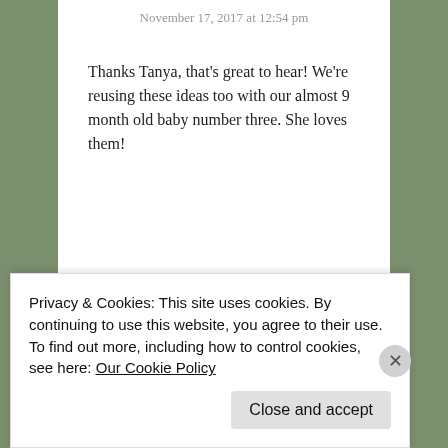November 17, 2017 at 12:54 pm
Thanks Tanya, that’s great to hear! We’re reusing these ideas too with our almost 9 month old baby number three. She loves them!
★ Like
Advertisements
[Figure (other): Advertisement for Pressable: ThePlatform Where WordPress Works Best]
REPORT THIS AD
Privacy & Cookies: This site uses cookies. By continuing to use this website, you agree to their use.
To find out more, including how to control cookies, see here: Our Cookie Policy
Close and accept